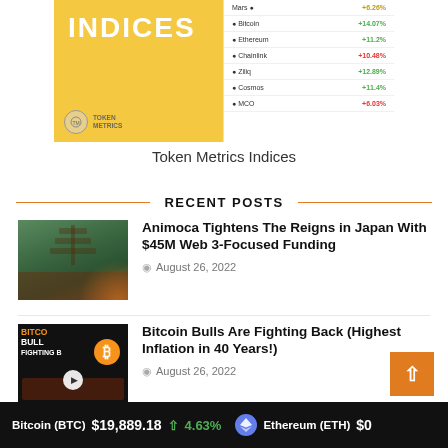[Figure (screenshot): Token Metrics Indices promotional image showing a yellow background with INDICES text and a mobile/web app interface displaying crypto index data with green and red percentage values]
Token Metrics Indices
RECENT POSTS
[Figure (photo): Thumbnail image for Animoca article showing a Japanese pagoda in a forest at dusk with orange/brown tones]
Animoca Tightens The Reigns in Japan With $45M Web 3-Focused Funding
August 26, 2022
[Figure (screenshot): Thumbnail image for Bitcoin Bulls article showing a dark background with Bitcoin logo, bull imagery and text BITCOIN BULLS FIGHTING BACK with a play button]
Bitcoin Bulls Are Fighting Back (Highest Inflation in 40 Years!)
August 26, 2022
Bitcoin (BTC)  $19,889.18  ↑ 4.63%   Ethereum (ETH)  $0
Bitcoin (BTC) $19,889.18 4.63% Ethereum (ETH) $0